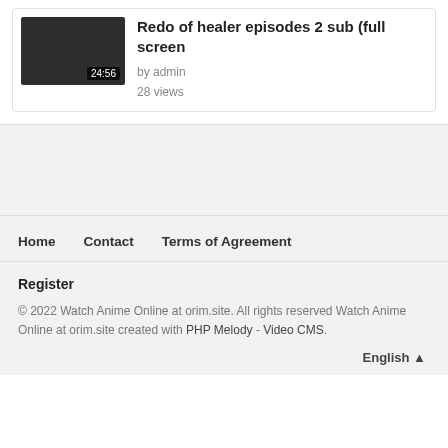[Figure (screenshot): Video thumbnail — dark/black rectangle with duration badge showing 24:56 in bottom right corner]
Redo of healer episodes 2 sub (full screen
by admin
28 views
[Figure (other): Advertisement/banner area with light gray background]
Home
Contact
Terms of Agreement
Register
© 2022 Watch Anime Online at orim.site. All rights reserved Watch Anime Online at orim.site created with PHP Melody - Video CMS.
English ▲